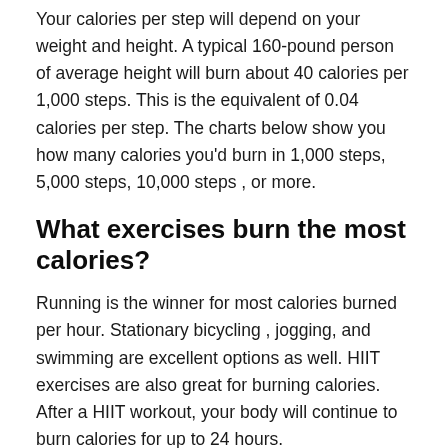Your calories per step will depend on your weight and height. A typical 160-pound person of average height will burn about 40 calories per 1,000 steps. This is the equivalent of 0.04 calories per step. The charts below show you how many calories you'd burn in 1,000 steps, 5,000 steps, 10,000 steps , or more.
What exercises burn the most calories?
Running is the winner for most calories burned per hour. Stationary bicycling , jogging, and swimming are excellent options as well. HIIT exercises are also great for burning calories. After a HIIT workout, your body will continue to burn calories for up to 24 hours.